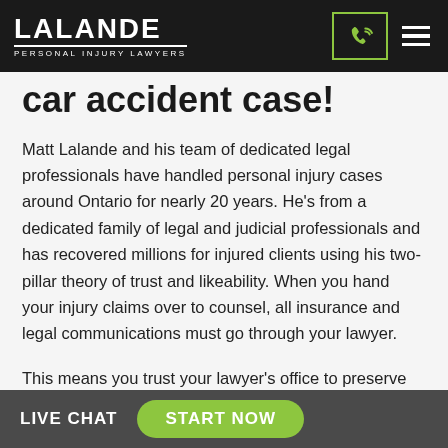LALANDE PERSONAL INJURY LAWYERS
car accident case!
Matt Lalande and his team of dedicated legal professionals have handled personal injury cases around Ontario for nearly 20 years. He's from a dedicated family of legal and judicial professionals and has recovered millions for injured clients using his two-pillar theory of trust and likeability. When you hand your injury claims over to counsel, all insurance and legal communications must go through your lawyer.
This means you trust your lawyer's office to preserve your
LIVE CHAT   START NOW